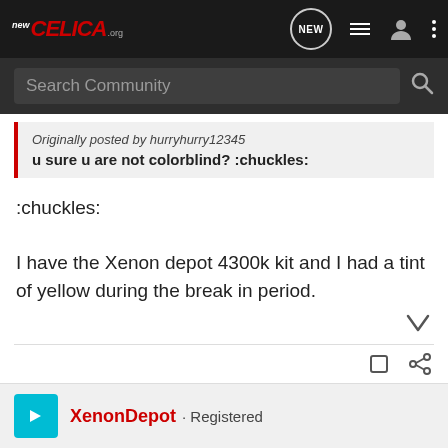New Celica.org — navigation bar with search
Originally posted by hurryhurry12345
u sure u are not colorblind? :chuckles:
:chuckles:

I have the Xenon depot 4300k kit and I had a tint of yellow during the break in period.
XenonDepot · Registered